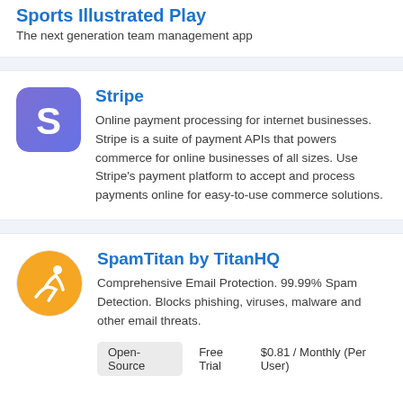Sports Illustrated Play
The next generation team management app
Stripe
Online payment processing for internet businesses. Stripe is a suite of payment APIs that powers commerce for online businesses of all sizes. Use Stripe's payment platform to accept and process payments online for easy-to-use commerce solutions.
SpamTitan by TitanHQ
Comprehensive Email Protection. 99.99% Spam Detection. Blocks phishing, viruses, malware and other email threats.
Open-Source
Free Trial
$0.81 / Monthly (Per User)